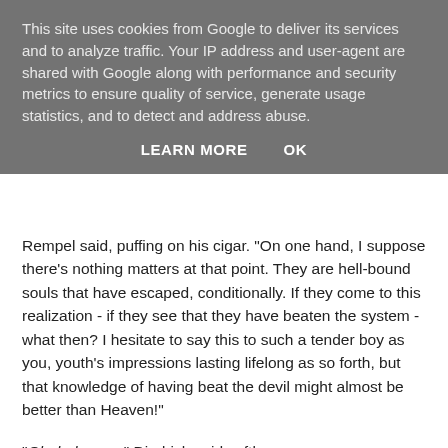This site uses cookies from Google to deliver its services and to analyze traffic. Your IP address and user-agent are shared with Google along with performance and security metrics to ensure quality of service, generate usage statistics, and to detect and address abuse.
LEARN MORE    OK
Rempel said, puffing on his cigar. "On one hand, I suppose there's nothing matters at that point. They are hell-bound souls that have escaped, conditionally. If they come to this realization - if they see that they have beaten the system - what then? I hesitate to say this to such a tender boy as you, youth's impressions lasting lifelong as so forth, but that knowledge of having beat the devil might almost be better than Heaven!"
"Oh, bah nay..." Diedrich said softly.
"Listen. To get to Heaven, you play by the rules. You sacrifice some earthly pleasures, many examples of which